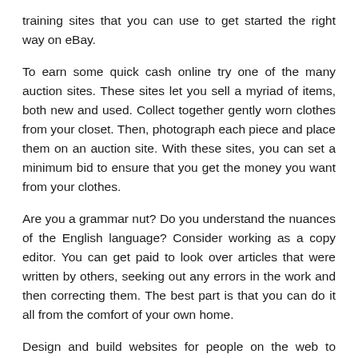training sites that you can use to get started the right way on eBay.
To earn some quick cash online try one of the many auction sites. These sites let you sell a myriad of items, both new and used. Collect together gently worn clothes from your closet. Then, photograph each piece and place them on an auction site. With these sites, you can set a minimum bid to ensure that you get the money you want from your clothes.
Are you a grammar nut? Do you understand the nuances of the English language? Consider working as a copy editor. You can get paid to look over articles that were written by others, seeking out any errors in the work and then correcting them. The best part is that you can do it all from the comfort of your own home.
Design and build websites for people on the web to make some extra cash on the side. This is a great way to showcase the skills that you have using programs like Kompozer. Take a class beforehand on website design if you want to brush up on your skills before starting up.